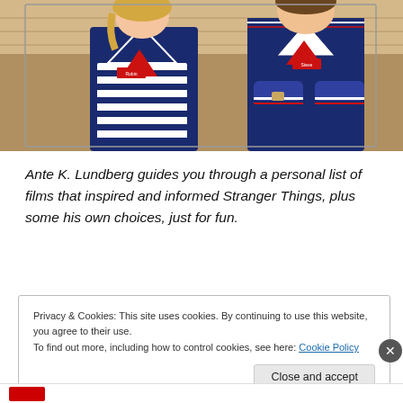[Figure (photo): Two people dressed in Stranger Things Scoops Ahoy sailor uniforms (navy blue with red/white stripes). The female character on the left wears a striped shirt and has a name badge. The male character on the right has arms crossed and also wears the uniform with a name badge. Indoor diner/restaurant setting background.]
Ante K. Lundberg guides you through a personal list of films that inspired and informed Stranger Things, plus some his own choices, just for fun.
Privacy & Cookies: This site uses cookies. By continuing to use this website, you agree to their use.
To find out more, including how to control cookies, see here: Cookie Policy